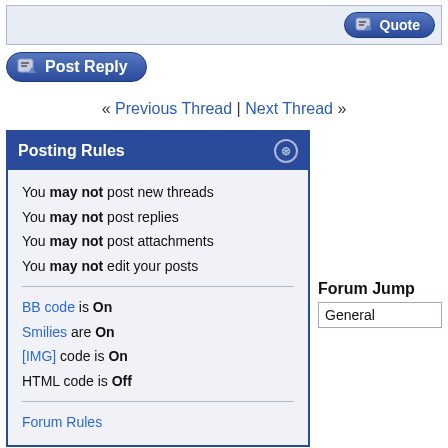[Figure (other): Quote button in top right of post area]
[Figure (other): Post Reply button]
« Previous Thread | Next Thread »
Posting Rules
You may not post new threads
You may not post replies
You may not post attachments
You may not edit your posts
BB code is On
Smilies are On
[IMG] code is On
HTML code is Off
Forum Rules
Forum Jump
General